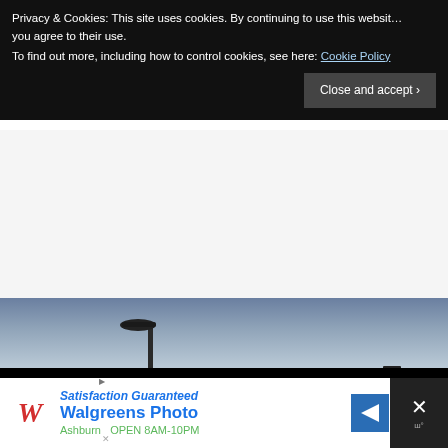Privacy & Cookies: This site uses cookies. By continuing to use this website, you agree to their use.
To find out more, including how to control cookies, see here: Cookie Policy
Close and accept
[Figure (photo): Outdoor photo showing a tall light pole against a dusk sky with gradient from blue-grey at top to lighter grey in the middle, with dark ground silhouette at the bottom. A second smaller pole or structure visible at far right.]
Satisfaction Guaranteed
Walgreens Photo
Ashburn  OPEN 8AM-10PM